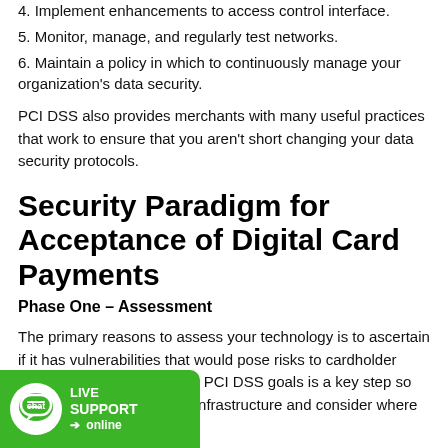4. Implement enhancements to access control interface.
5. Monitor, manage, and regularly test networks.
6. Maintain a policy in which to continuously manage your organization's data security.
PCI DSS also provides merchants with many useful practices that work to ensure that you aren't short changing your data security protocols.
Security Paradigm for Acceptance of Digital Card Payments
Phase One – Assessment
The primary reasons to assess your technology is to ascertain if it has vulnerabilities that would pose risks to cardholder security. Understanding the PCI DSS goals is a key step so you can look through your infrastructure and consider where there may be a